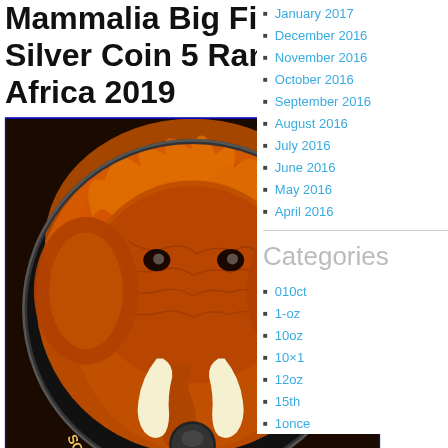Mammalia Big Five 1 Oz Silver Coin 5 Rand South Africa 2019
[Figure (photo): Silver coin with colorized elephant design, South Africa Big Five 2019, eBay watermark]
[Figure (photo): Reverse side of coin showing dark elephant silhouette design]
January 2017
December 2016
November 2016
October 2016
September 2016
August 2016
July 2016
June 2016
May 2016
April 2016
Categories
010ct
1-oz
10oz
10×1
12oz
15th
1once